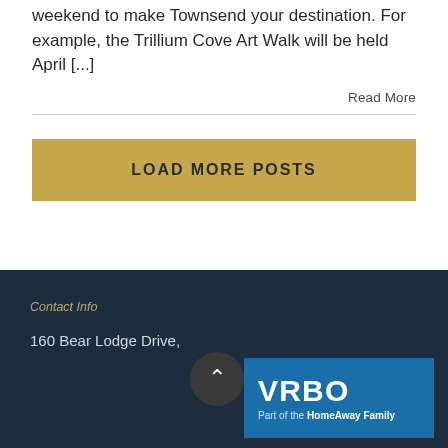weekend to make Townsend your destination. For example, the Trillium Cove Art Walk will be held April [...]
Read More
LOAD MORE POSTS
Contact Info
160 Bear Lodge Drive,
[Figure (logo): VRBO logo - Part of the HomeAway Family]